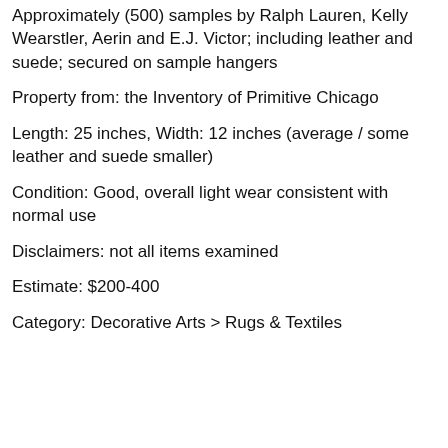Approximately (500) samples by Ralph Lauren, Kelly Wearstler, Aerin and E.J. Victor; including leather and suede; secured on sample hangers
Property from: the Inventory of Primitive Chicago
Length: 25 inches, Width: 12 inches (average / some leather and suede smaller)
Condition: Good, overall light wear consistent with normal use
Disclaimers: not all items examined
Estimate: $200-400
Category: Decorative Arts > Rugs & Textiles